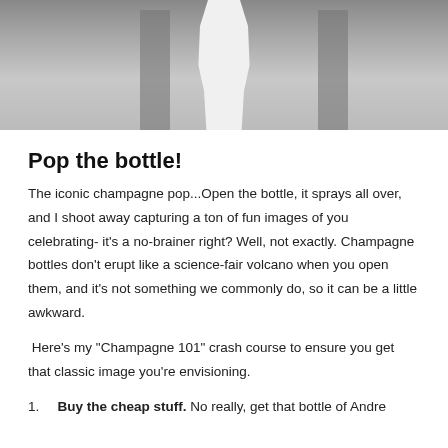[Figure (photo): Black and white photo of a person in a white outfit standing between columns, cropped to show legs and lower body]
Pop the bottle!
The iconic champagne pop...Open the bottle, it sprays all over, and I shoot away capturing a ton of fun images of you celebrating- it's a no-brainer right? Well, not exactly. Champagne bottles don't erupt like a science-fair volcano when you open them, and it's not something we commonly do, so it can be a little awkward.
Here's my "Champagne 101" crash course to ensure you get that classic image you're envisioning.
Buy the cheap stuff. No really, get that bottle of Andre